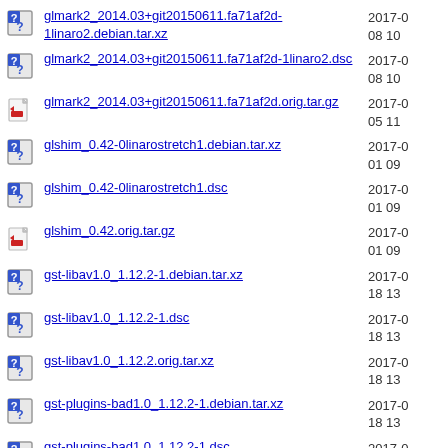glmark2_2014.03+git20150611.fa71af2d-1linaro2.debian.tar.xz  2017-0 08 10
glmark2_2014.03+git20150611.fa71af2d-1linaro2.dsc  2017-0 08 10
glmark2_2014.03+git20150611.fa71af2d.orig.tar.gz  2017-0 05 11
glshim_0.42-0linarostretch1.debian.tar.xz  2017-0 01 09
glshim_0.42-0linarostretch1.dsc  2017-0 01 09
glshim_0.42.orig.tar.gz  2017-0 01 09
gst-libav1.0_1.12.2-1.debian.tar.xz  2017-0 18 13
gst-libav1.0_1.12.2-1.dsc  2017-0 18 13
gst-libav1.0_1.12.2.orig.tar.xz  2017-0 18 13
gst-plugins-bad1.0_1.12.2-1.debian.tar.xz  2017-0 18 13
gst-plugins-bad1.0_1.12.2-1.dsc  2017-0 18 13